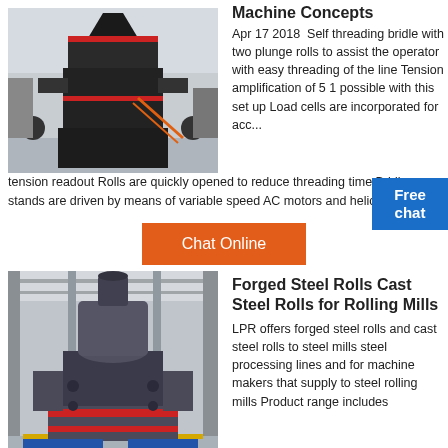[Figure (photo): Large industrial mill/grinder machine in factory setting, black metal construction with red accent rings]
Machine Concepts
Apr 17 2018  Self threading bridle with two plunge rolls to assist the operator with easy threading of the line Tension amplification of 5 1 possible with this set up Load cells are incorporated for acc...
tension readout Rolls are quickly opened to reduce threading time Bridle roll stands are driven by means of variable speed AC motors and helical
Free chat
Chat Online
[Figure (photo): Industrial rolling mill machine in factory with high ceiling, blue/grey metal construction with red and yellow accent colors on base]
Forged Steel Rolls Cast Steel Rolls for Rolling Mills
LPR offers forged steel rolls and cast steel rolls to steel mills steel processing lines and for machine makers that supply to steel rolling mills Product range includes